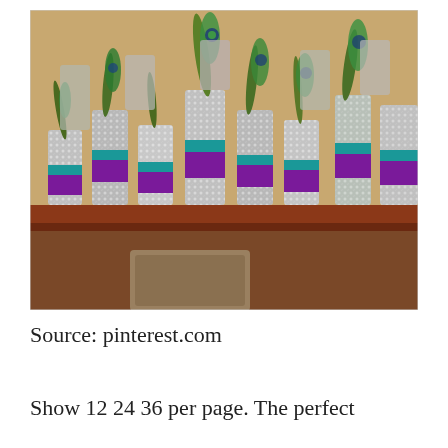[Figure (photo): Multiple rhinestone-covered cylindrical vases decorated with teal and purple ribbon bands and peacock feathers, arranged on a dark wooden table or shelf.]
Source: pinterest.com
Show 12 24 36 per page. The perfect